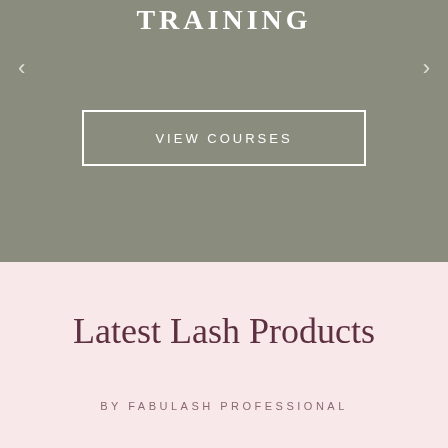TRAINING
<
>
VIEW COURSES
Latest Lash Products
BY FABULASH PROFESSIONAL